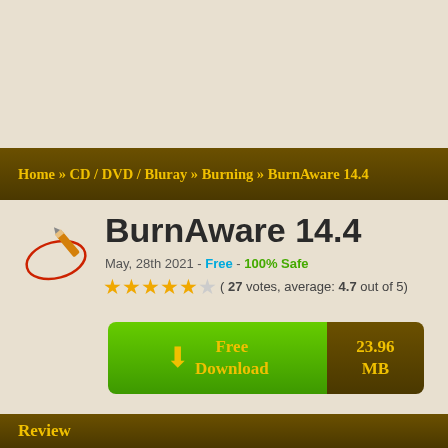Home » CD / DVD / Bluray » Burning » BurnAware 14.4
BurnAware 14.4
May, 28th 2021 - Free - 100% Safe
( 27 votes, average: 4.7 out of 5)
[Figure (other): Free Download button with size 23.96 MB]
Review
[Figure (screenshot): Screenshot of BurnAware Free application window]